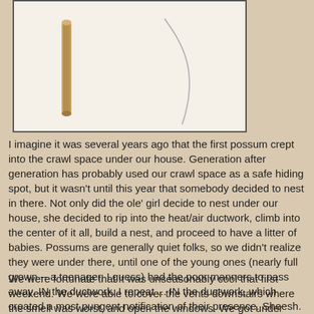[Figure (illustration): Illustration of two objects on white background: a short brown twig/stick on the left and a long curved thin wire or needle on the right.]
I imagine it was several years ago that the first possum crept into the crawl space under our house. Generation after generation has probably used our crawl space as a safe hiding spot, but it wasn't until this year that somebody decided to nest in there. Not only did the ole' girl decide to nest under our house, she decided to rip into the heat/air ductwork, climb into the center of it all, build a nest, and proceed to have a litter of babies. Possums are generally quiet folks, so we didn't realize they were under there, until one of the young ones (nearly full grown -- a teenager, I guess) had the poor manners to pass away. IN the ductwork. I repeat ... IN the ductwork, which created a most pungent notification of their presence. Sheesh.
We were fortunate that it was unseasonably cool that first weekend. We were able to cover the vents downstairs where the smell was worst, and open the windows. We got under